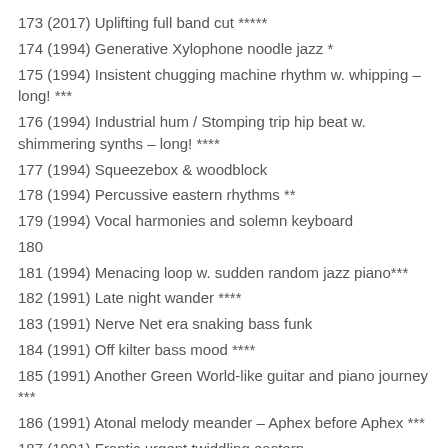173 (2017) Uplifting full band cut *****
174 (1994) Generative Xylophone noodle jazz *
175 (1994) Insistent chugging machine rhythm w. whipping – long! ***
176 (1994) Industrial hum / Stomping trip hip beat w. shimmering synths – long! ****
177 (1994) Squeezebox & woodblock
178 (1994) Percussive eastern rhythms **
179 (1994) Vocal harmonies and solemn keyboard
180
181 (1994) Menacing loop w. sudden random jazz piano***
182 (1991) Late night wander ****
183 (1991) Nerve Net era snaking bass funk
184 (1991) Off kilter bass mood ****
185 (1991) Another Green World-like guitar and piano journey ***
186 (1991) Atonal melody meander – Aphex before Aphex ***
187 (1991) Frantic urgent twiddling eastern melodies...